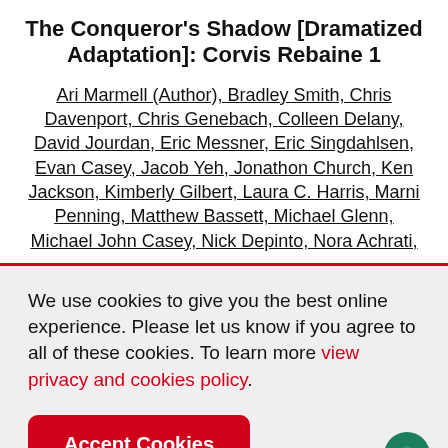The Conqueror's Shadow [Dramatized Adaptation]: Corvis Rebaine 1
Ari Marmell (Author), Bradley Smith, Chris Davenport, Chris Genebach, Colleen Delany, David Jourdan, Eric Messner, Eric Singdahlsen, Evan Casey, Jacob Yeh, Jonathon Church, Ken Jackson, Kimberly Gilbert, Laura C. Harris, Marni Penning, Matthew Bassett, Michael Glenn, Michael John Casey, Nick Depinto, Nora Achrati,
We use cookies to give you the best online experience. Please let us know if you agree to all of these cookies. To learn more view privacy and cookies policy.